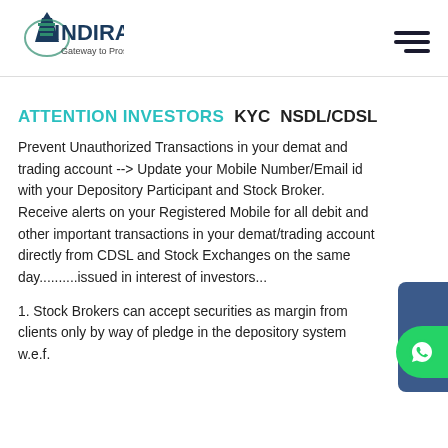INDIRA — Gateway to Prosperity [logo and hamburger menu]
ATTENTION INVESTORS   KYC   NSDL/CDSL
Prevent Unauthorized Transactions in your demat and trading account --> Update your Mobile Number/Email id with your Depository Participant and Stock Broker. Receive alerts on your Registered Mobile for all debit and other important transactions in your demat/trading account directly from CDSL and Stock Exchanges on the same day..........issued in interest of investors...
1. Stock Brokers can accept securities as margin from clients only by way of pledge in the depository system w.e.f.